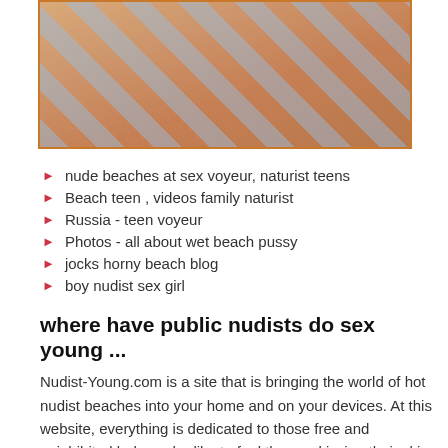[Figure (photo): Cropped close-up photo of a person's torso against a blue and white background.]
nude beaches at sex voyeur, naturist teens
Beach teen , videos family naturist
Russia - teen voyeur
Photos - all about wet beach pussy
jocks horny beach blog
boy nudist sex girl
where have public nudists do sex young ...
Nudist-Young.com is a site that is bringing the world of hot nudist beaches into your home and on your devices. At this website, everything is dedicated to those free and uninhibited babes who like to feel the sun kissing their skin everywhere on their bods, not just where the society